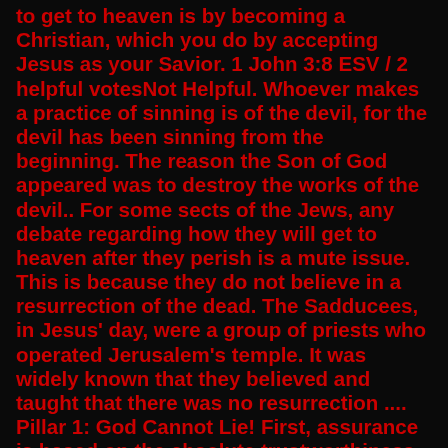to get to heaven is by becoming a Christian, which you do by accepting Jesus as your Savior. 1 John 3:8 ESV / 2 helpful votesNot Helpful. Whoever makes a practice of sinning is of the devil, for the devil has been sinning from the beginning. The reason the Son of God appeared was to destroy the works of the devil.. For some sects of the Jews, any debate regarding how they will get to heaven after they perish is a mute issue. This is because they do not believe in a resurrection of the dead. The Sadducees, in Jesus' day, were a group of priests who operated Jerusalem's temple. It was widely known that they believed and taught that there was no resurrection .... Pillar 1: God Cannot Lie! First, assurance is based on the absolute trustworthiness of Scripture. Throughout the New Testament, we read God's promises to save all who will believe upon His Son. The Bible says, “Whoever will call upon the name of the Lord will be saved.”. (1) This is a promise!. The Bible makes reference to the heavens, not heaven. This means there is more than one heaven. In the beginning God created the